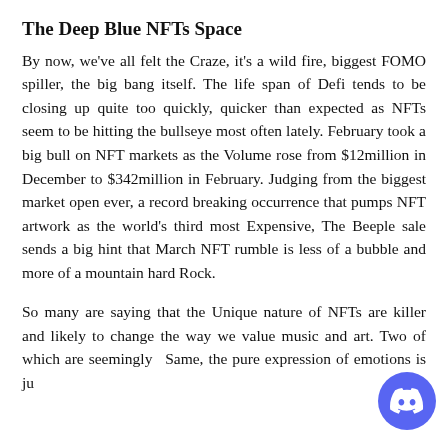The Deep Blue NFTs Space
By now, we've all felt the Craze, it's a wild fire, biggest FOMO spiller, the big bang itself. The life span of Defi tends to be closing up quite too quickly, quicker than expected as NFTs seem to be hitting the bullseye most often lately. February took a big bull on NFT markets as the Volume rose from $12million in December to $342million in February. Judging from the biggest market open ever, a record breaking occurrence that pumps NFT artwork as the world's third most Expensive, The Beeple sale sends a big hint that March NFT rumble is less of a bubble and more of a mountain hard Rock.
So many are saying that the Unique nature of NFTs are killer and likely to change the way we value music and art. Two of which are seemingly the Same, the pure expression of emotions is just defining of both, but one is an ever changing and...